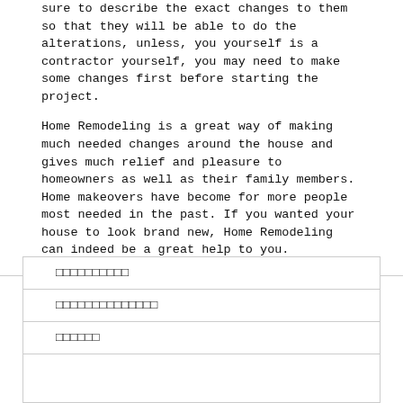sure to describe the exact changes to them so that they will be able to do the alterations, unless, you yourself is a contractor yourself, you may need to make some changes first before starting the project.
Home Remodeling is a great way of making much needed changes around the house and gives much relief and pleasure to homeowners as well as their family members. Home makeovers have become for more people most needed in the past. If you wanted your house to look brand new, Home Remodeling can indeed be a great help to you.
□□□□□□□□□□
□□□□□□□□□□□□□□
□□□□□□